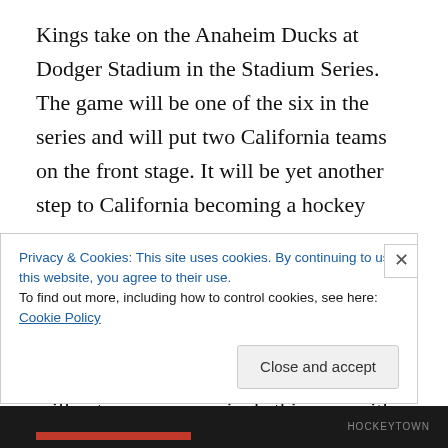Kings take on the Anaheim Ducks at Dodger Stadium in the Stadium Series. The game will be one of the six in the series and will put two California teams on the front stage. It will be yet another step to California becoming a hockey market that nobody can debate. The sport continues to grow along the coast as rumours of a team in Seattle arise the growth of the sport along the Pacific may continue to expand. The Pacific Division will get some new arrivals this year with the realignment of the NHL. The old Northwest division will join the Pacific division creating a truly West coast division that includes the first four teams
Privacy & Cookies: This site uses cookies. By continuing to use this website, you agree to their use.
To find out more, including how to control cookies, see here: Cookie Policy
Close and accept